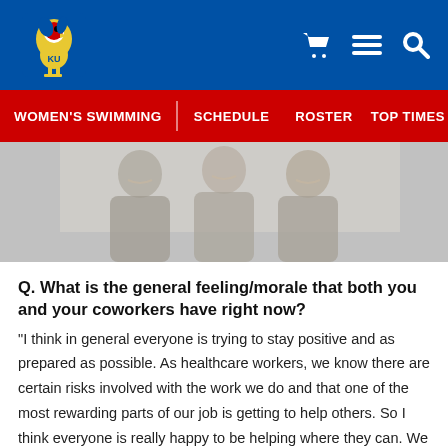KU Women's Swimming — WOMEN'S SWIMMING | SCHEDULE | ROSTER | TOP TIMES (PDF)
[Figure (photo): Group photo of three smiling women indoors, slightly faded/muted tones]
Q. What is the general feeling/morale that both you and your coworkers have right now?
“I think in general everyone is trying to stay positive and as prepared as possible. As healthcare workers, we know there are certain risks involved with the work we do and that one of the most rewarding parts of our job is getting to help others. So I think everyone is really happy to be helping where they can. We have been lucky to have low numbers in the Central Valley but we could see a spike at any time. It has been very helpful that our hospital has kept